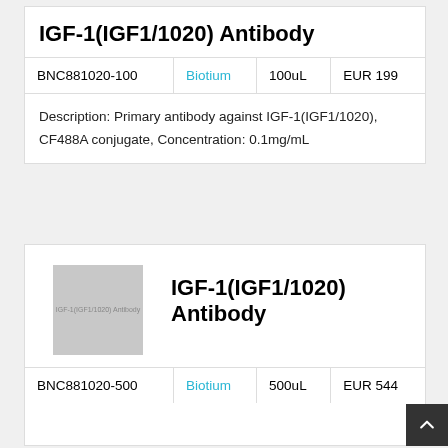IGF-1(IGF1/1020) Antibody
|  |  |  |  |
| --- | --- | --- | --- |
| BNC881020-100 | Biotium | 100uL | EUR 199 |
Description: Primary antibody against IGF-1(IGF1/1020), CF488A conjugate, Concentration: 0.1mg/mL
[Figure (photo): Product image placeholder for IGF-1(IGF1/1020) Antibody]
IGF-1(IGF1/1020) Antibody
|  |  |  |  |
| --- | --- | --- | --- |
| BNC881020-500 | Biotium | 500uL | EUR 544 |